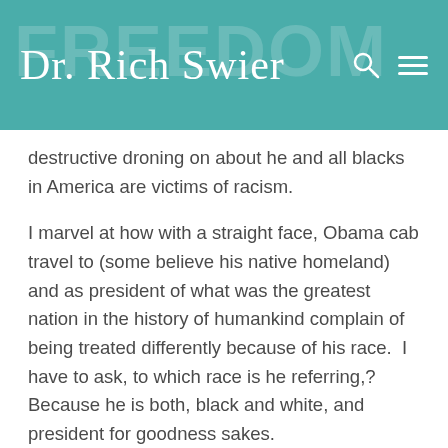Dr. Rich Swier
destructive droning on about he and all blacks in America are victims of racism.
I marvel at how with a straight face, Obama cab travel to (some believe his native homeland) and as president of what was the greatest nation in the history of humankind complain of being treated differently because of his race.  I have to ask, to which race is he referring,? Because he is both, black and white, and president for goodness sakes.
President Obama has been a textbook case on how not to govern, parent, or lead in any